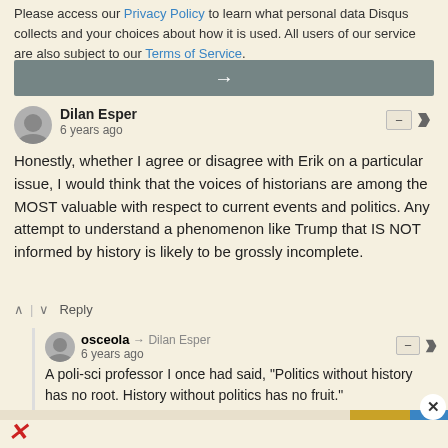Please access our Privacy Policy to learn what personal data Disqus collects and your choices about how it is used. All users of our service are also subject to our Terms of Service.
[Figure (other): Gray button with right-pointing arrow]
Dilan Esper
6 years ago
Honestly, whether I agree or disagree with Erik on a particular issue, I would think that the voices of historians are among the MOST valuable with respect to current events and politics. Any attempt to understand a phenomenon like Trump that IS NOT informed by history is likely to be grossly incomplete.
Reply
osceola → Dilan Esper
6 years ago
A poli-sci professor I once had said, "Politics without history has no root. History without politics has no fruit."